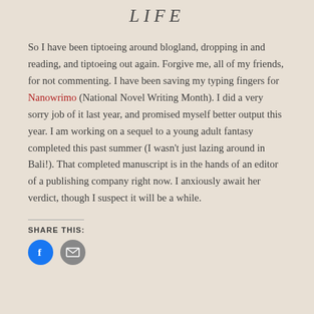LIFE
So I have been tiptoeing around blogland, dropping in and reading, and tiptoeing out again.  Forgive me, all of my friends, for not commenting.  I have been saving my typing fingers for Nanowrimo (National Novel Writing Month).  I did a very sorry job of it last year, and promised myself better output this year.  I am working on a sequel to a young adult fantasy completed this past summer (I wasn't just lazing around in Bali!).  That completed manuscript is in the hands of an editor of a publishing company right now.  I anxiously await her verdict, though I suspect it will be a while.
SHARE THIS:
[Figure (other): Facebook and Email share icons]